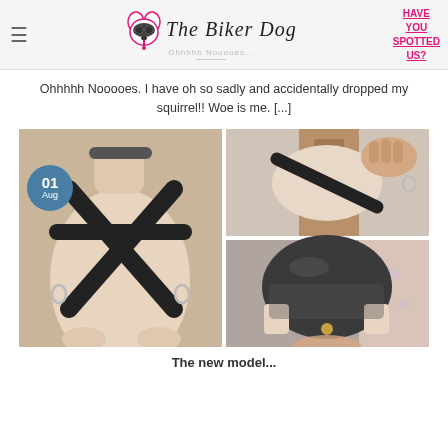The Biker Dog — HAVE YOU SPOTTED US?
Ohhhhh Nooooes. I have oh so sadly and accidentally dropped my squirrel!! Woe is me. [...]
[Figure (photo): Two-panel photo collage showing a dog wearing a black harness with X-strap pattern, with a date badge showing 01 Aug in the lower-left corner]
The new model...